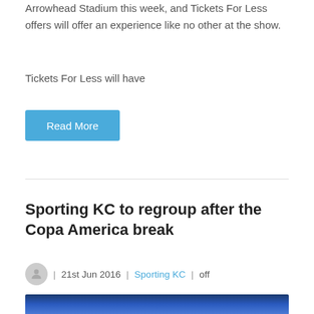Arrowhead Stadium this week, and Tickets For Less offers will offer an experience like no other at the show.
Tickets For Less will have
Read More
Sporting KC to regroup after the Copa America break
| 21st Jun 2016 | Sporting KC | off
[Figure (photo): Blue gradient banner image at the bottom of the page]